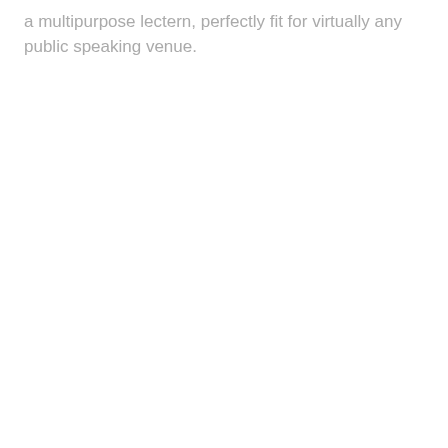a multipurpose lectern, perfectly fit for virtually any public speaking venue.